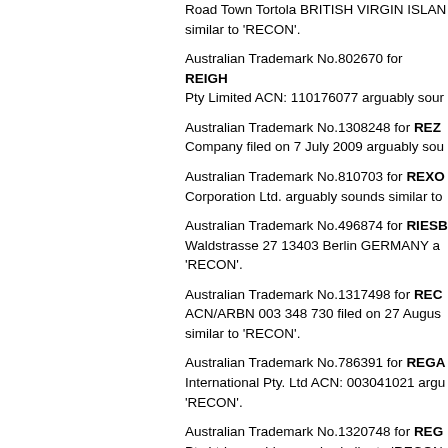Road Town Tortola BRITISH VIRGIN ISLANDS arguably sounds similar to 'RECON'.
Australian Trademark No.802670 for REIGH Pty Limited ACN: 110176077 arguably sounds similar to 'RECON'.
Australian Trademark No.1308248 for REZK Company filed on 7 July 2009 arguably sounds similar to 'RECON'.
Australian Trademark No.810703 for REXO Corporation Ltd. arguably sounds similar to 'RECON'.
Australian Trademark No.496874 for RIESB Waldstrasse 27 13403 Berlin GERMANY arguably sounds similar to 'RECON'.
Australian Trademark No.1317498 for REC ACN/ARBN 003 348 730 filed on 27 August arguably sounds similar to 'RECON'.
Australian Trademark No.786391 for REGA International Pty. Ltd ACN: 003041021 arguably sounds similar to 'RECON'.
Australian Trademark No.1320748 for REG Pty Ltd arguably sounds similar to 'RECON'.